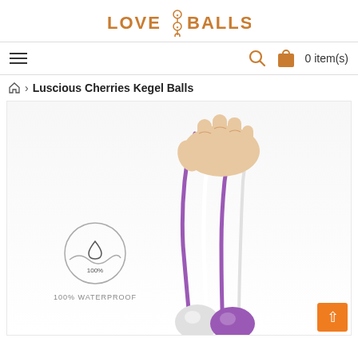LOVE BALLS
≡  🔍  0 item(s)
🏠 > Luscious Cherries Kegel Balls
[Figure (photo): Product photo of Luscious Cherries Kegel Balls: a hand holding purple and white silicone strings attached to kegel balls. A circular badge reads '100%' with a waterproof/water drop icon. Text below the badge reads '100% WATERPROOF'.]